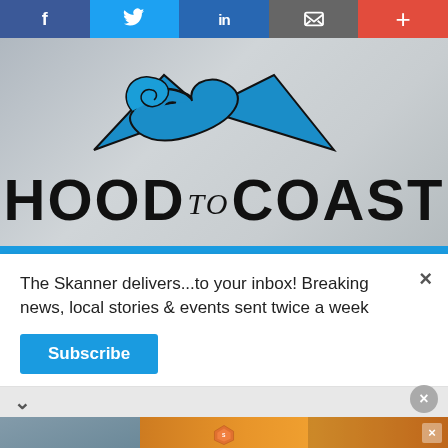[Figure (screenshot): Social sharing toolbar with Facebook, Twitter, LinkedIn, email/mail, and plus icons on colored backgrounds]
[Figure (logo): Hood to Coast logo — wave and mountain graphic above bold text reading HOOD to COAST]
The Skanner delivers...to your inbox! Breaking news, local stories & events sent twice a week
Subscribe
[Figure (photo): Advertisement for Sedona Apartments — apartment building photo, address 14402 Pavilion Point, Houston, TX 77083, phone 281-568-4596, website www.apartments.com. Spanish text: ¡RENTA TU APARTAMENTO!, Y MÚDATE HOY!, ¡VEN Y VISITANOS!, 1 Y 2 RECAMARAS]